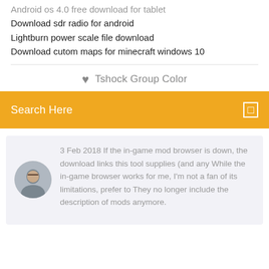Android os 4.0 free download for tablet
Download sdr radio for android
Lightburn power scale file download
Download cutom maps for minecraft windows 10
♥  Tshock Group Color
Search Here
3 Feb 2018 If the in-game mod browser is down, the download links this tool supplies (and any While the in-game browser works for me, I'm not a fan of its limitations, prefer to They no longer include the description of mods anymore.